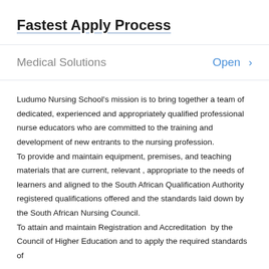Fastest Apply Process
Medical Solutions
Open >
Ludumo Nursing School’s mission is to bring together a team of dedicated, experienced and appropriately qualified professional nurse educators who are committed to the training and development of new entrants to the nursing profession. To provide and maintain equipment, premises, and teaching materials that are current, relevant , appropriate to the needs of learners and aligned to the South African Qualification Authority registered qualifications offered and the standards laid down by the South African Nursing Council. To attain and maintain Registration and Accreditation by the Council of Higher Education and to apply the required standards of